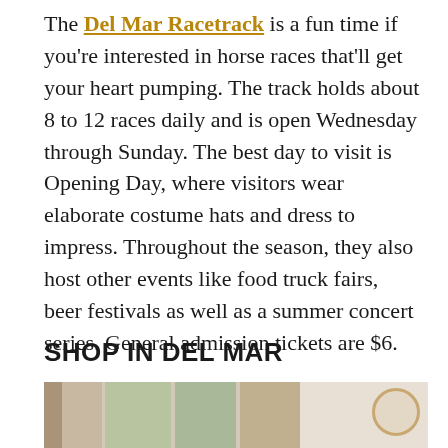The Del Mar Racetrack is a fun time if you're interested in horse races that'll get your heart pumping. The track holds about 8 to 12 races daily and is open Wednesday through Sunday. The best day to visit is Opening Day, where visitors wear elaborate costume hats and dress to impress. Throughout the season, they also host other events like food truck fairs, beer festivals as well as a summer concert series. General admission tickets are $6.
SHOP IN DEL MAR
[Figure (photo): A shelf display with plants, a round wicker mirror, and decorative home items in a light, neutral-toned interior shop setting.]